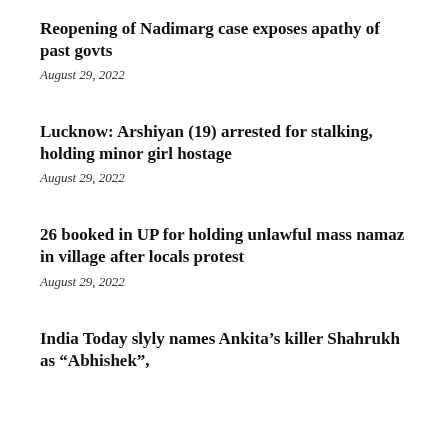Reopening of Nadimarg case exposes apathy of past govts
August 29, 2022
Lucknow: Arshiyan (19) arrested for stalking, holding minor girl hostage
August 29, 2022
26 booked in UP for holding unlawful mass namaz in village after locals protest
August 29, 2022
India Today slyly names Ankita’s killer Shahrukh as “Abhishek”,